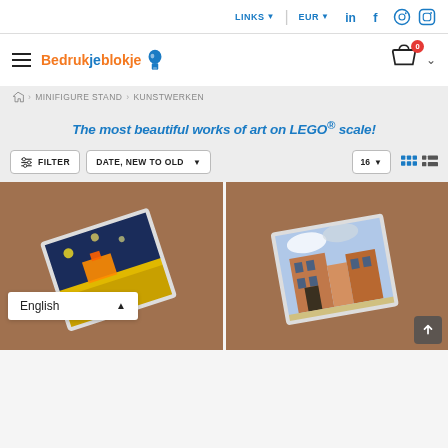LINKS  EUR  LinkedIn Facebook Pinterest Instagram
[Figure (logo): Bedrukjeblokje logo with hamburger menu and cart icon showing 0 items]
MINIFIGURE STAND > KUNSTWERKEN
The most beautiful works of art on LEGO® scale!
FILTER  DATE, NEW TO OLD  16
[Figure (photo): Two product images on brown backgrounds: left shows a tilted painting tile resembling Van Gogh's Starry Night/Cafe Terrace, right shows a Vermeer street scene painting tile]
English